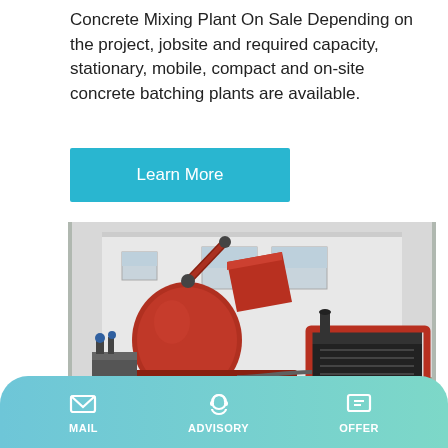Concrete Mixing Plant On Sale Depending on the project, jobsite and required capacity, stationary, mobile, compact and on-site concrete batching plants are available.
Learn More
[Figure (photo): A red mobile concrete batching plant / mixer on a trailer, with a large cylindrical drum mixer on the left and a power unit/generator on the right, parked on a concrete surface in front of a white building.]
Concrete Batching Plant And...
MAIL   ADVISORY   OFFER